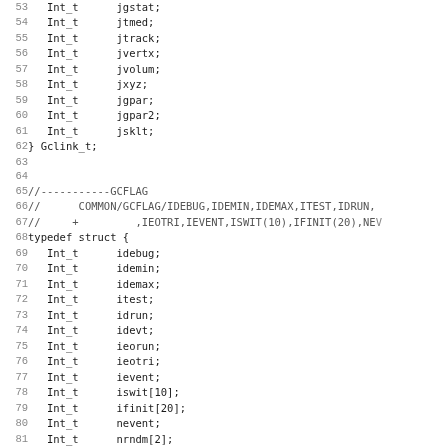Source code listing showing C struct definitions for Gclink_t and Gcflag_t, lines 53–85